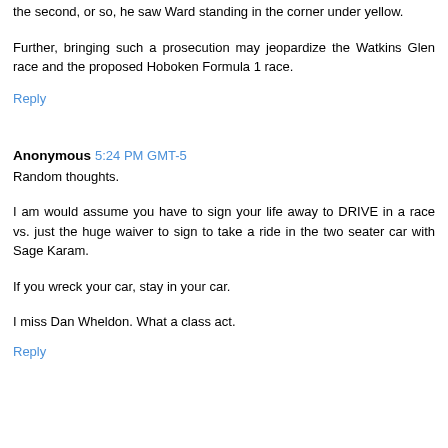the second, or so, he saw Ward standing in the corner under yellow.
Further, bringing such a prosecution may jeopardize the Watkins Glen race and the proposed Hoboken Formula 1 race.
Reply
Anonymous 5:24 PM GMT-5
Random thoughts.
I am would assume you have to sign your life away to DRIVE in a race vs. just the huge waiver to sign to take a ride in the two seater car with Sage Karam.
If you wreck your car, stay in your car.
I miss Dan Wheldon. What a class act.
Reply